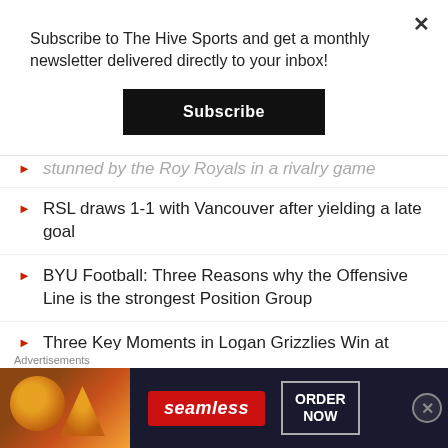Subscribe to The Hive Sports and get a monthly newsletter delivered directly to your inbox!
Subscribe
stunned by the Roy Royals in a rivalry game
RSL draws 1-1 with Vancouver after yielding a late goal
BYU Football: Three Reasons why the Offensive Line is the strongest Position Group
Three Key Moments in Logan Grizzlies Win at Juan Diego
Weber State Football: Predicting Offensive Starters
Advertisements
[Figure (other): Seamless food delivery advertisement banner with pizza image, seamless logo in red, and ORDER NOW button]